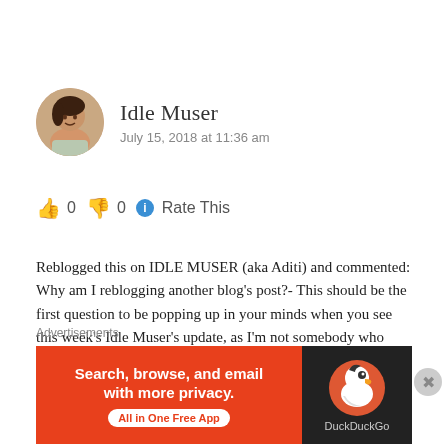[Figure (photo): Circular avatar photo of a woman, warm tones, brown/amber background]
Idle Muser
July 15, 2018 at 11:36 am
👍 0 👎 0 ℹ Rate This
Reblogged this on IDLE MUSER (aka Aditi) and commented: Why am I reblogging another blog's post?- This should be the first question to be popping up in your minds when you see this week's Idle Muser's update, as I'm not somebody who reblogs very often. I remember it's been just 2 reblogs on my blog in past 2 years. Here is the third one. Well, this one is primarily because of a bait,
Advertisements
[Figure (screenshot): DuckDuckGo advertisement banner: orange background with text 'Search, browse, and email with more privacy. All in One Free App' and DuckDuckGo duck logo on dark background on the right side.]